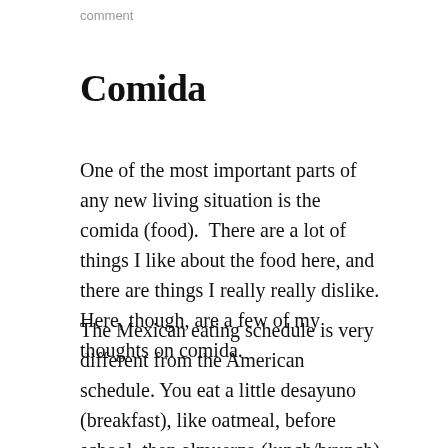comment
Comida
One of the most important parts of any new living situation is the comida (food).  There are a lot of things I like about the food here, and there are things I really really dislike. Here, though, are a few of my thoughts on comida.
The Mexican eating schedule is very different from the American schedule. You eat a little desayuno (breakfast), like oatmeal, before school, then almuerzo (lunch/brunch) is at 10:00 AM. Comida (lunch/dinner) is at 3:00 PM,